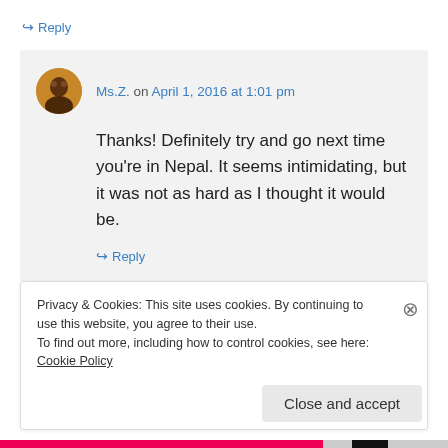↪ Reply
Ms.Z. on April 1, 2016 at 1:01 pm
Thanks! Definitely try and go next time you're in Nepal. It seems intimidating, but it was not as hard as I thought it would be.
↪ Reply
Privacy & Cookies: This site uses cookies. By continuing to use this website, you agree to their use.
To find out more, including how to control cookies, see here: Cookie Policy
Close and accept